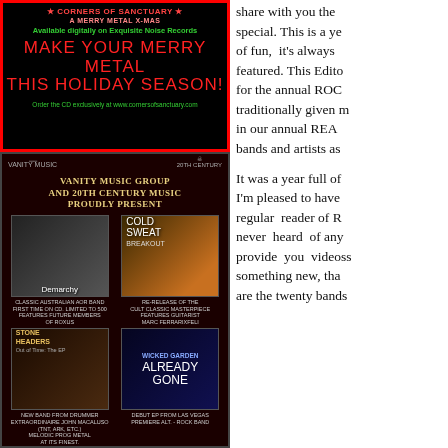[Figure (illustration): Top advertisement for Corners of Sanctuary Merry Metal X-Mas album. Red border, black background. Text: 'MAKE YOUR MERRY METAL THIS HOLIDAY SEASON!' Available digitally on Exquisite Noise Records. Order at www.cornersofsanctuary.com]
[Figure (illustration): Bottom advertisement for Vanity Music Group and 20th Century Music. Features four album covers: Demarchy (classic Australian AOR band), Cold Sweat (Breakout re-release), Stone Headers, and Wicked Garden (Already Gone EP). Dark red/black background.]
share with you the special. This is a year of fun, it's always featured. This Editor for the annual ROC traditionally given m in our annual REA bands and artists as
It was a year full of I'm pleased to have regular reader of R never heard of any provide you videoss something new, tha are the twenty bands
HY